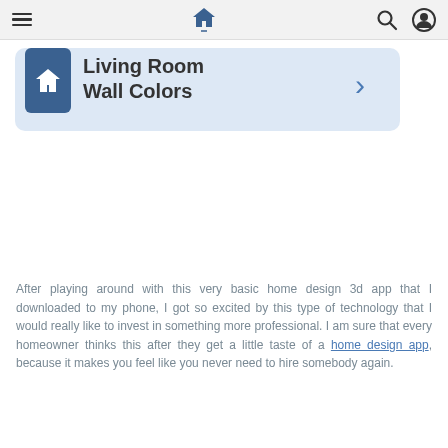Navigation bar with hamburger menu, home icon, search icon, and user icon
[Figure (screenshot): App UI card showing a home icon in dark blue square and text 'Living Room Wall Colors' with a right chevron arrow, on a light blue rounded rectangle background]
After playing around with this very basic home design 3d app that I downloaded to my phone, I got so excited by this type of technology that I would really like to invest in something more professional. I am sure that every homeowner thinks this after they get a little taste of a home design app, because it makes you feel like you never need to hire somebody again.